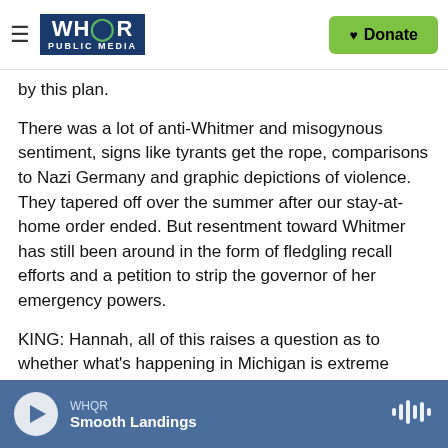WHQR PUBLIC MEDIA | Donate
by this plan.
There was a lot of anti-Whitmer and misogynous sentiment, signs like tyrants get the rope, comparisons to Nazi Germany and graphic depictions of violence. They tapered off over the summer after our stay-at-home order ended. But resentment toward Whitmer has still been around in the form of fledgling recall efforts and a petition to strip the governor of her emergency powers.
KING: Hannah, all of this raises a question as to whether what's happening in Michigan is extreme or whether it is sort of something bigger that th
WHQR | Smooth Landings